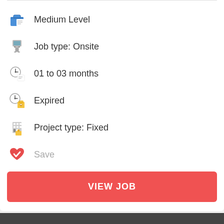Medium Level
Job type: Onsite
01 to 03 months
Expired
Project type: Fixed
Save
VIEW JOB